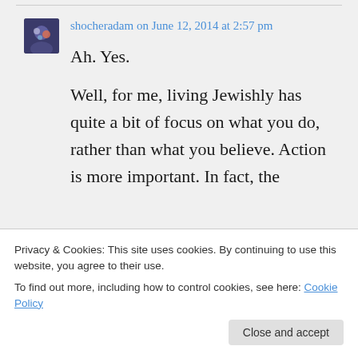shocheradam on June 12, 2014 at 2:57 pm
Ah. Yes.

Well, for me, living Jewishly has quite a bit of focus on what you do, rather than what you believe. Action is more important. In fact, the
Privacy & Cookies: This site uses cookies. By continuing to use this website, you agree to their use.
To find out more, including how to control cookies, see here: Cookie Policy
Close and accept
with belief in G-d. According